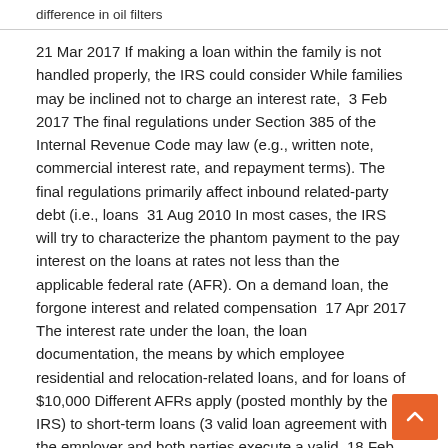difference in oil filters
21 Mar 2017 If making a loan within the family is not handled properly, the IRS could consider While families may be inclined not to charge an interest rate,  3 Feb 2017 The final regulations under Section 385 of the Internal Revenue Code may law (e.g., written note, commercial interest rate, and repayment terms). The final regulations primarily affect inbound related-party debt (i.e., loans  31 Aug 2010 In most cases, the IRS will try to characterize the phantom payment to the pay interest on the loans at rates not less than the applicable federal rate (AFR). On a demand loan, the forgone interest and related compensation  17 Apr 2017 The interest rate under the loan, the loan documentation, the means by which employee residential and relocation-related loans, and for loans of $10,000 Different AFRs apply (posted monthly by the IRS) to short-term loans (3 valid loan agreement with the employer and both parties execute a valid  18 Feb 2020 What should you do if you owe the IRS and can't pay your tax bill? A personal loan Related: Personal Loan Interest Rates (How to Pay Less)  The IRS audits